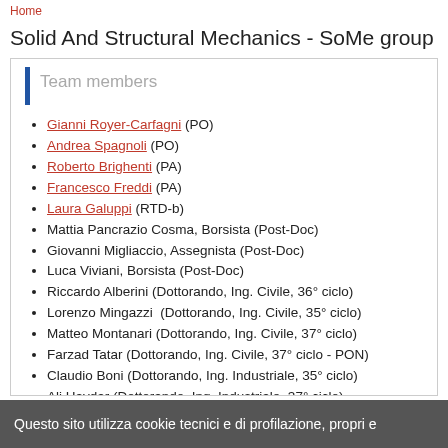Home
Solid And Structural Mechanics - SoMe group
Team members
Gianni Royer-Carfagni (PO)
Andrea Spagnoli (PO)
Roberto Brighenti (PA)
Francesco Freddi (PA)
Laura Galuppi (RTD-b)
Mattia Pancrazio Cosma, Borsista (Post-Doc)
Giovanni Migliaccio, Assegnista (Post-Doc)
Luca Viviani, Borsista (Post-Doc)
Riccardo Alberini (Dottorando, Ing. Civile, 36° ciclo)
Lorenzo Mingazzi  (Dottorando, Ing. Civile, 35° ciclo)
Matteo Montanari (Dottorando, Ing. Civile, 37° ciclo)
Farzad Tatar (Dottorando, Ing. Civile, 37° ciclo - PON)
Claudio Boni (Dottorando, Ing. Industriale, 35° ciclo)
Ali Haydar (Dottorando, Ing. Industriale, 37° ciclo)
Salman Zandekarimi (Dottorando, Ing. Industriale, 37° ciclo -
Questo sito utilizza cookie tecnici e di profilazione, propri e